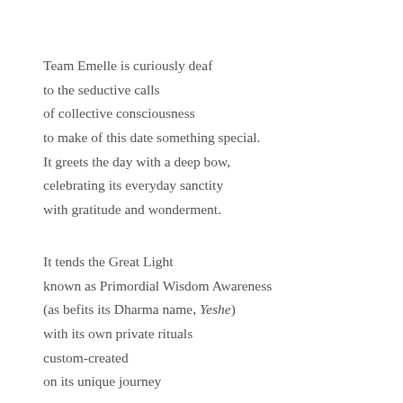Team Emelle is curiously deaf
to the seductive calls
of collective consciousness
to make of this date something special.
It greets the day with a deep bow,
celebrating its everyday sanctity
with gratitude and wonderment.
It tends the Great Light
known as Primordial Wisdom Awareness
(as befits its Dharma name, Yeshe)
with its own private rituals
custom-created
on its unique journey